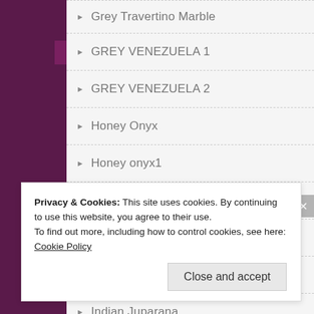Grey Travertino Marble
GREY VENEZUELA 1
GREY VENEZUELA 2
Honey Onyx
Honey onyx1
IIKAL RED
Imported Marble
Indian Green Onyx
Indian Juparana
INDIAN JUPARANA GRANITE
INDIAN LAVENTO MARBLE
Privacy & Cookies: This site uses cookies. By continuing to use this website, you agree to their use.
To find out more, including how to control cookies, see here: Cookie Policy
Close and accept